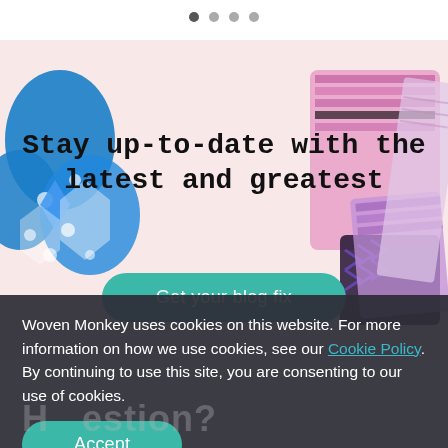[Figure (illustration): Four pagination dots at top, first dot darker indicating current slide position]
[Figure (illustration): Hero banner with pink/salmon background featuring colorful craft/fabric elements including blue glittery flowers and purple/pink geometric woven patterns on left and right sides]
Stay up-to-date with the latest and greatest
Get your blog fix
Woven Monkey uses cookies on this website. For more information on how we use cookies, see our Cookie Policy. By continuing to use this site, you are consenting to our use of cookies.
Accept
H   estion?